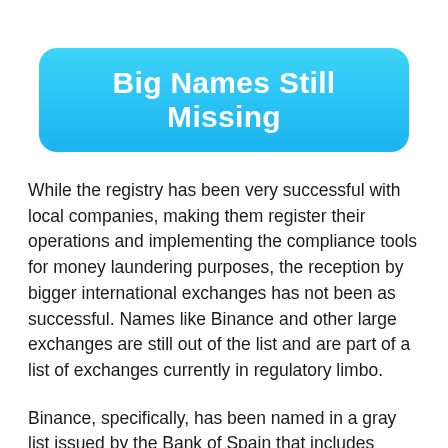Big Names Still Missing
While the registry has been very successful with local companies, making them register their operations and implementing the compliance tools for money laundering purposes, the reception by bigger international exchanges has not been as successful. Names like Binance and other large exchanges are still out of the list and are part of a list of exchanges currently in regulatory limbo.
Binance, specifically, has been named in a gray list issued by the Bank of Spain that includes